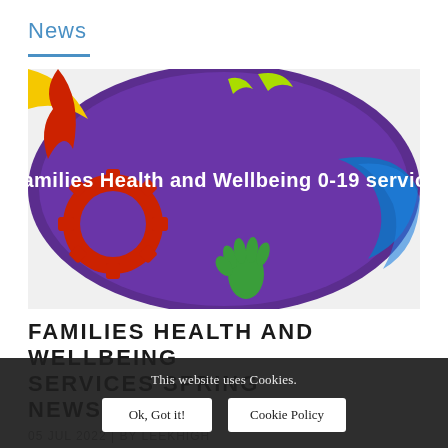News
[Figure (photo): Circular logo for 'Families Health and Wellbeing 0-19 service' on a purple background with colorful children's handprint and gear decorations]
FAMILIES HEALTH AND WELLBEING SERVICES SPRING NEWSLETTER
05 JUL 2022 | BY LEEKHIGH
This website uses Cookies.
Ok, Got it!   Cookie Policy